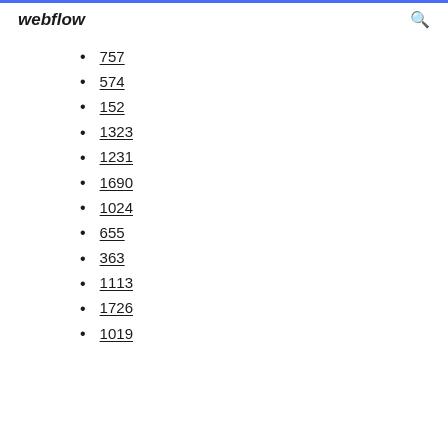webflow
757
574
152
1323
1231
1690
1024
655
363
1113
1726
1019